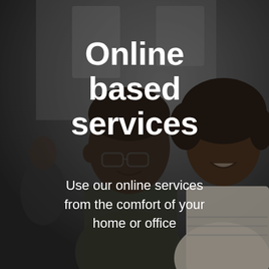[Figure (photo): Two people, a man and a woman, looking down and smiling, in an office environment. Background is dark and blurred. A dark semi-transparent overlay covers the image.]
Online based services
Use our online services from the comfort of your home or office